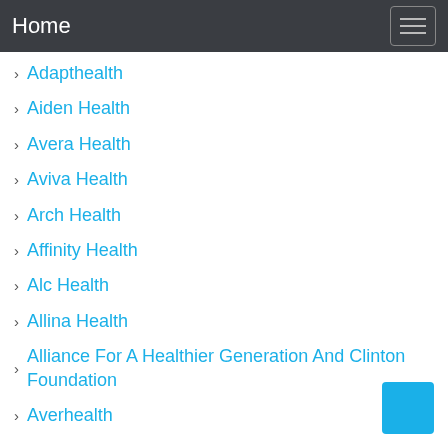Home
Adapthealth
Aiden Health
Avera Health
Aviva Health
Arch Health
Affinity Health
Alc Health
Allina Health
Alliance For A Healthier Generation And Clinton Foundation
Averhealth